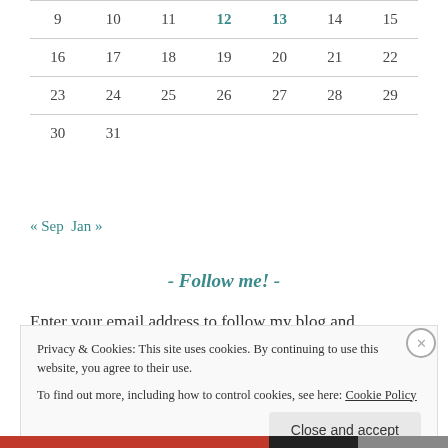|  |  |  |  |  |  |  |
| --- | --- | --- | --- | --- | --- | --- |
| 9 | 10 | 11 | 12 | 13 | 14 | 15 |
| 16 | 17 | 18 | 19 | 20 | 21 | 22 |
| 23 | 24 | 25 | 26 | 27 | 28 | 29 |
| 30 | 31 |  |  |  |  |  |
« Sep   Jan »
- Follow me! -
Enter your email address to follow my blog and receive
Privacy & Cookies: This site uses cookies. By continuing to use this website, you agree to their use.
To find out more, including how to control cookies, see here: Cookie Policy
Close and accept